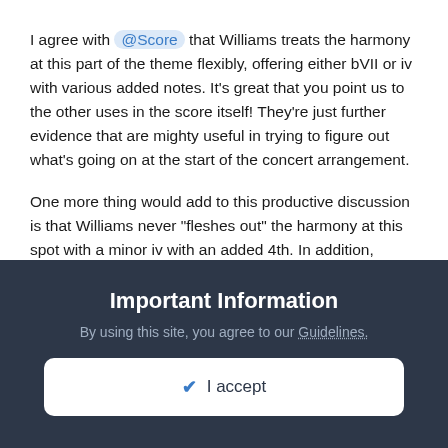I agree with @Score that Williams treats the harmony at this part of the theme flexibly, offering either bVII or iv with various added notes. It's great that you point us to the other uses in the score itself! They're just further evidence that are mighty useful in trying to figure out what's going on at the start of the concert arrangement.
One more thing would add to this productive discussion is that Williams never "fleshes out" the harmony at this spot with a minor iv with an added 4th. In addition, "add4" isn't a standard label, probably because to add a 4th means you've got the 3rd, and having the 3rd and 4th at the same time is avoided in both classical music (having a suspension and its resolution at the same time) and in jazz (an "avoid" note). If the 4th is there, in jazz it's usually placed an octave higher to be an 11th (for minor
Important Information
By using this site, you agree to our Guidelines.
✔ I accept